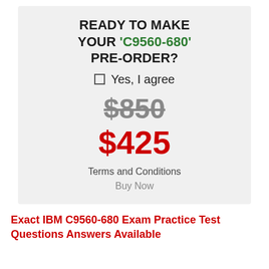READY TO MAKE YOUR 'C9560-680' PRE-ORDER?
Yes, I agree
$850
$425
Terms and Conditions
Buy Now
Exact IBM C9560-680 Exam Practice Test Questions Answers Available